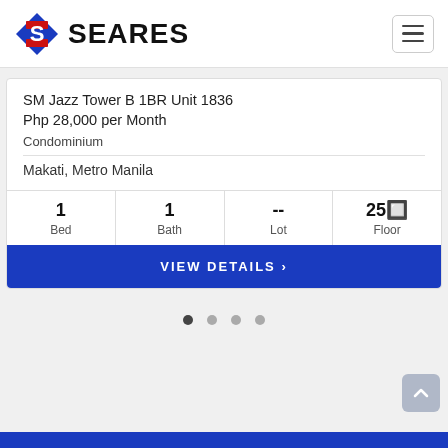[Figure (logo): SEARES real estate logo with stylized S in red and blue, followed by bold text SEARES]
SM Jazz Tower B 1BR Unit 1836
Php 28,000 per Month
Condominium
Makati, Metro Manila
| Bed | Bath | Lot | Floor |
| --- | --- | --- | --- |
| 1 | 1 | -- | 25🔲 |
VIEW DETAILS ›
[Figure (other): Pagination dots: 4 circles, first one dark (active), rest grey]